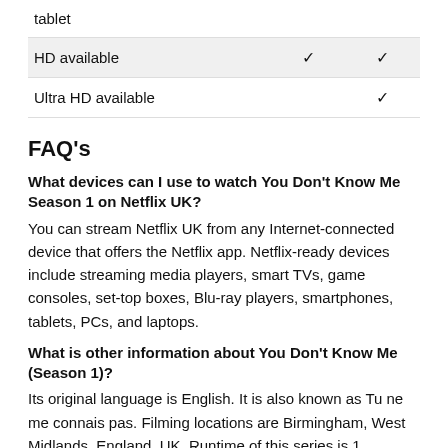|  |  |  |
| --- | --- | --- |
| tablet |  |  |
| HD available | ✓ | ✓ |
| Ultra HD available |  | ✓ |
FAQ's
What devices can I use to watch You Don't Know Me Season 1 on Netflix UK?
You can stream Netflix UK from any Internet-connected device that offers the Netflix app. Netflix-ready devices include streaming media players, smart TVs, game consoles, set-top boxes, Blu-ray players, smartphones, tablets, PCs, and laptops.
What is other information about You Don't Know Me (Season 1)?
Its original language is English. It is also known as Tu ne me connais pas. Filming locations are Birmingham, West Midlands, England, UK. Runtime of this series is 1